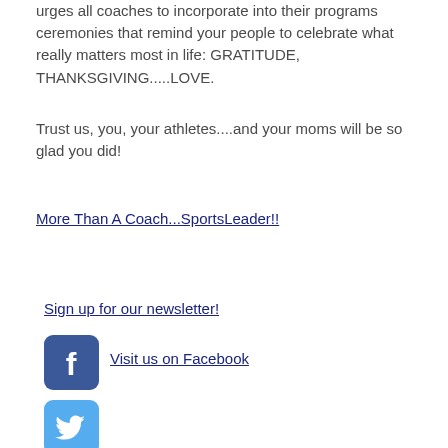urges all coaches to incorporate into their programs ceremonies that remind your people to celebrate what really matters most in life: GRATITUDE, THANKSGIVING.....LOVE.
Trust us, you, your athletes....and your moms will be so glad you did!
More Than A Coach...SportsLeader!!
Sign up for our newsletter!
[Figure (logo): Facebook logo icon - blue rounded square with white 'f' letter]
Visit us on Facebook
[Figure (logo): Twitter logo icon - light blue rounded square with white bird]